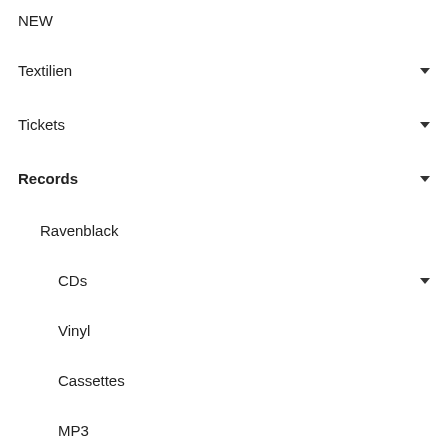NEW
Textilien
Tickets
Records
Ravenblack
CDs
Vinyl
Cassettes
MP3
Accessoires
Liquor
Remnants
Monofans